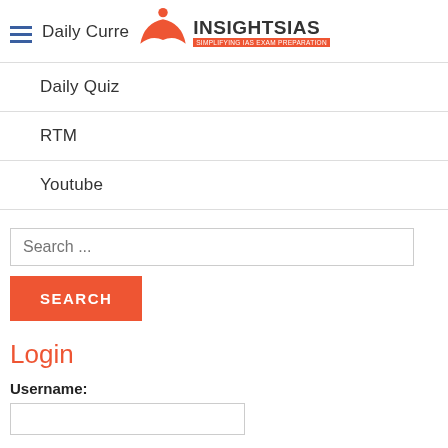[Figure (logo): InsightsIAS logo with red open book/person icon and text INSIGHTSIAS with tagline SIMPLIFYING IAS EXAM PREPARATION]
Daily Quiz
RTM
Youtube
Search ...
SEARCH
Login
Username: